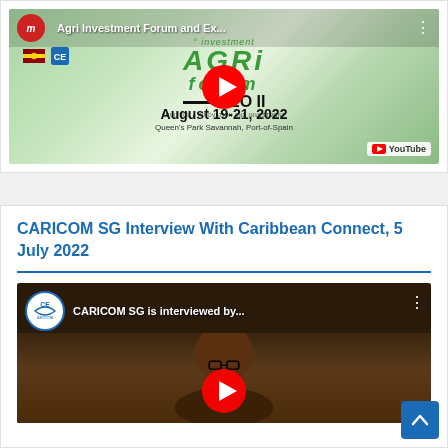[Figure (screenshot): YouTube video thumbnail for Agri Investment Forum and Exhibition, August 19-21, 2022, Queen's Park Savannah, Port-of-Spain, with red YouTube play button overlay]
CARICOM SG Interview With Caribbean Connect, 5 July 2022
[Figure (screenshot): YouTube video thumbnail showing CARICOM SG being interviewed, with CARICOM channel logo and red YouTube play button overlay]